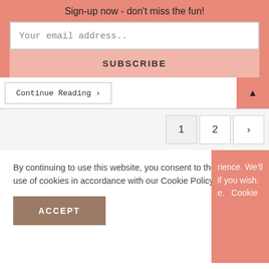Sign-up now - don't miss the fun!
Your email address..
SUBSCRIBE
Continue Reading ▸
▲
1  2  ›
By continuing to use this website, you consent to the use of cookies in accordance with our Cookie Policy.
ACCEPT
rience. We'll if you wish. e.  Cookie